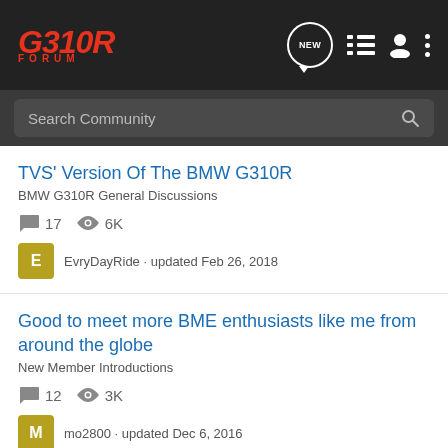G310R FORUM
Search Community
TVS' Version Of The BMW G310R
BMW G310R General Discussions
17 replies · 6K views
EvryDayRide · updated Feb 26, 2018
Good to meet more BME enthusiasts like me from around the globe
New Member Introductions
12 replies · 3K views
mo2800 · updated Dec 6, 2016